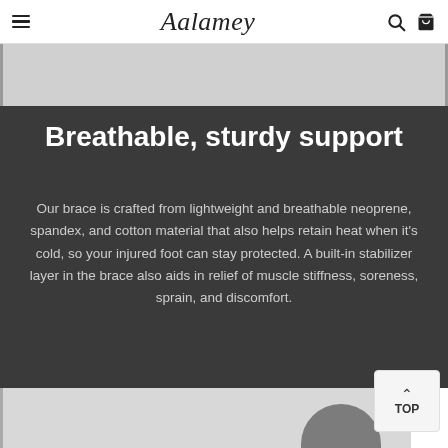Aalamey
[Figure (photo): Partial product image strip at top of page, light gray background]
Breathable, sturdy support
Our brace is crafted from lightweight and breathable neoprene, spandex, and cotton material that also helps retain heat when it’s cold, so your injured foot can stay protected. A built-in stabilizer layer in the brace also aids in relief of muscle stiffness, soreness, sprain, and discomfort.
[Figure (photo): Bottom partial product image showing dark ankle brace on light background]
[Figure (other): TOP back-to-top button with upward chevron arrow]